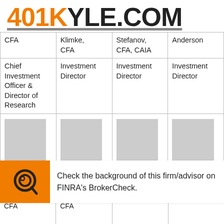401KYle.com
| CFA | Klimke, CFA | Stefanov, CFA, CAIA | Anderson |
| --- | --- | --- | --- |
| Chief Investment Officer & Director of Research | Investment Director | Investment Director | Investment Director |
| [photo] | [photo] | [photo] | [photo] |
Check the background of this firm/advisor on FINRA's BrokerCheck.
| CFA | CFA |  |  |
| --- | --- | --- | --- |